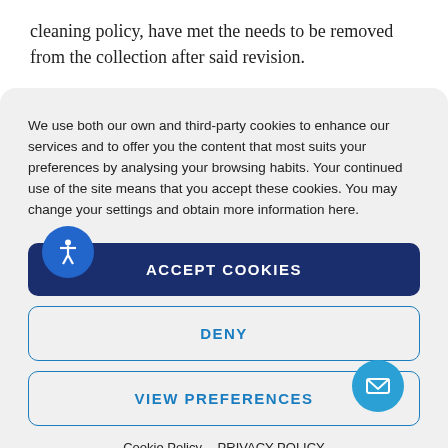cleaning policy, have met the needs to be removed from the collection after said revision.
We use both our own and third-party cookies to enhance our services and to offer you the content that most suits your preferences by analysing your browsing habits. Your continued use of the site means that you accept these cookies. You may change your settings and obtain more information here.
ACCEPT COOKIES
DENY
VIEW PREFERENCES
Cookie Policy   PRIVACY POLICY